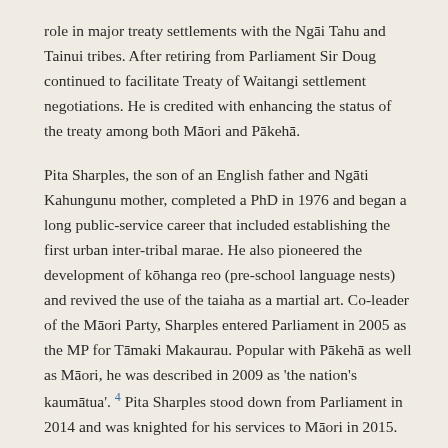role in major treaty settlements with the Ngāi Tahu and Tainui tribes. After retiring from Parliament Sir Doug continued to facilitate Treaty of Waitangi settlement negotiations. He is credited with enhancing the status of the treaty among both Māori and Pākehā.
Pita Sharples, the son of an English father and Ngāti Kahungunu mother, completed a PhD in 1976 and began a long public-service career that included establishing the first urban inter-tribal marae. He also pioneered the development of kōhanga reo (pre-school language nests) and revived the use of the taiaha as a martial art. Co-leader of the Māori Party, Sharples entered Parliament in 2005 as the MP for Tāmaki Makaurau. Popular with Pākehā as well as Māori, he was described in 2009 as 'the nation's kaumātua'. 4 Pita Sharples stood down from Parliament in 2014 and was knighted for his services to Māori in 2015.